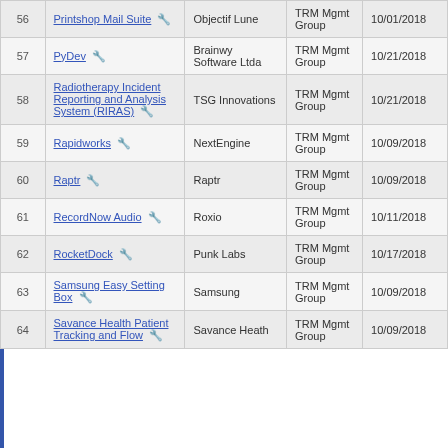| # | Name | Vendor | Mgmt Group | Date |
| --- | --- | --- | --- | --- |
| 57 | PyDev | Brainwy Software Ltda | TRM Mgmt Group | 10/21/2018 |
| 58 | Radiotherapy Incident Reporting and Analysis System (RIRAS) | TSG Innovations | TRM Mgmt Group | 10/21/2018 |
| 59 | Rapidworks | NextEngine | TRM Mgmt Group | 10/09/2018 |
| 60 | Raptr | Raptr | TRM Mgmt Group | 10/09/2018 |
| 61 | RecordNow Audio | Roxio | TRM Mgmt Group | 10/11/2018 |
| 62 | RocketDock | Punk Labs | TRM Mgmt Group | 10/17/2018 |
| 63 | Samsung Easy Setting Box | Samsung | TRM Mgmt Group | 10/09/2018 |
| 64 | Savance Health Patient Tracking and Flow | Savance Heath | TRM Mgmt Group | 10/09/2018 |